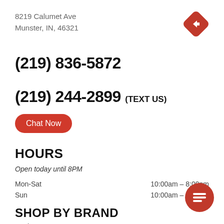8219 Calumet Ave
Munster, IN, 46321
[Figure (other): Red diamond navigation turn icon with white arrow pointing right]
(219) 836-5872
(219) 244-2899 (TEXT US)
Chat Now
HOURS
Open today until 8PM
Mon-Sat	10:00am – 8:00pm
Sun	10:00am – 6:00pm
SHOP BY BRAND
Sealy
[Figure (other): Red circular chat bubble icon with white message lines]